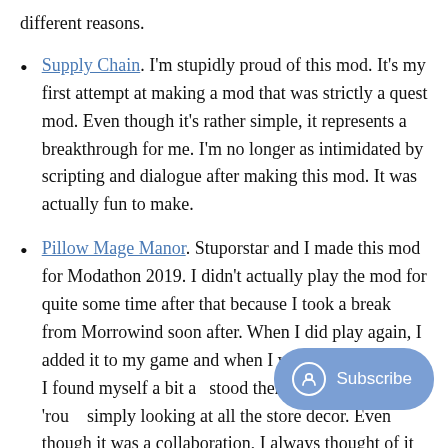different reasons.
Supply Chain. I'm stupidly proud of this mod. It's my first attempt at making a mod that was strictly a quest mod. Even though it's rather simple, it represents a breakthrough for me. I'm no longer as intimidated by scripting and dialogue after making this mod. It was actually fun to make.
Pillow Mage Manor. Stuporstar and I made this mod for Modathon 2019. I didn't actually play the mod for quite some time after that because I took a break from Morrowind soon after. When I did play again, I added it to my game and when I went in there again, I found myself a bit a... stood there for a bit, turning 'rou... simply looking at all the store decor. Even though it was a collaboration, I always thought of it as